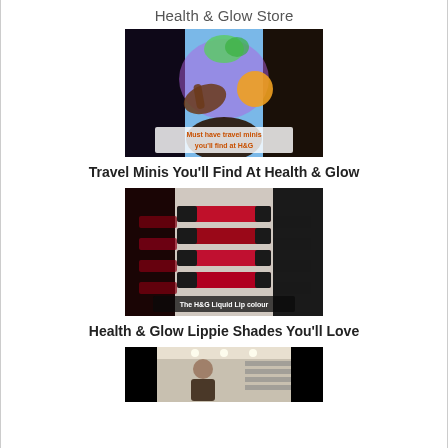Health & Glow Store
[Figure (screenshot): Video thumbnail showing animated/illustrated hands reaching toward fruit and plants with text overlay 'Must have travel minis you'll find at H&G']
Travel Minis You'll Find At Health & Glow
[Figure (screenshot): Video thumbnail showing multiple red liquid lipstick products arranged in a row with text overlay 'The H&G Liquid Lip colour']
Health & Glow Lippie Shades You'll Love
[Figure (screenshot): Video thumbnail showing a person in a store with shelves of products visible]